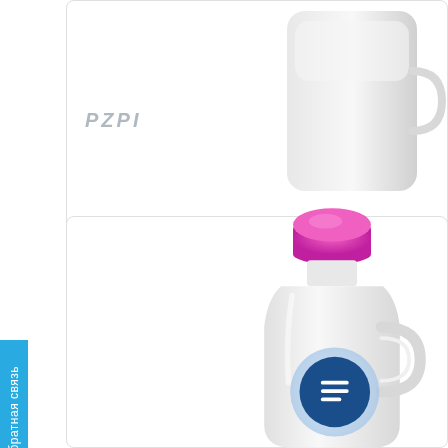[Figure (photo): White plastic bottle with a handle — top card product image, partial view of bottle against white background with gray PZPI watermark text]
PZPI
Ф-321
500 ml
[Figure (photo): White plastic laundry detergent bottle with a pink/magenta cap, featuring a circular blue icon with a document/list symbol on the bottle body]
Обратная связь